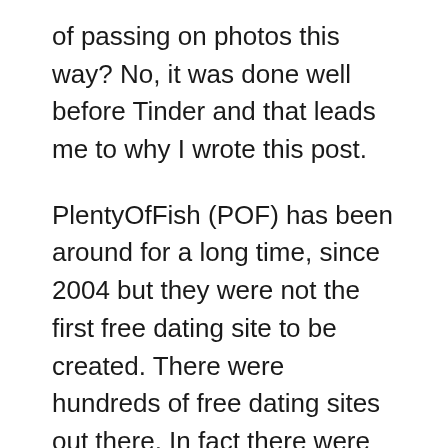of passing on photos this way? No, it was done well before Tinder and that leads me to why I wrote this post.
PlentyOfFish (POF) has been around for a long time, since 2004 but they were not the first free dating site to be created. There were hundreds of free dating sites out there. In fact there were some really awesome free dating sites out there. What made POF different is that they were the first to market it in mainstream. Same thing for Tinder.
The point to this blog is to show you that you don't have to be the first type of dating site out there but if you want to be the first to gain some steam then you